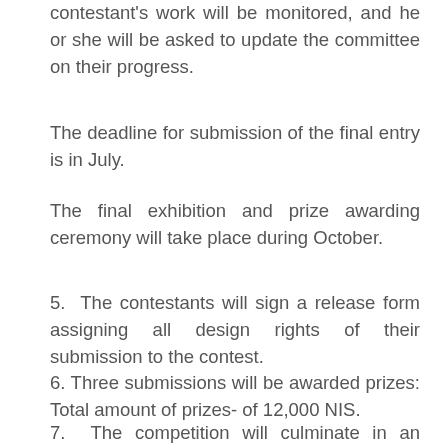contestant's work will be monitored, and he or she will be asked to update the committee on their progress.
The deadline for submission of the final entry is in July.
The final exhibition and prize awarding ceremony will take place during October.
5.  The contestants will sign a release form assigning all design rights of their submission to the contest.
6. Three submissions will be awarded prizes: Total amount of prizes- of 12,000 NIS.
7.  The competition will culminate in an exhibition where all of the competing models